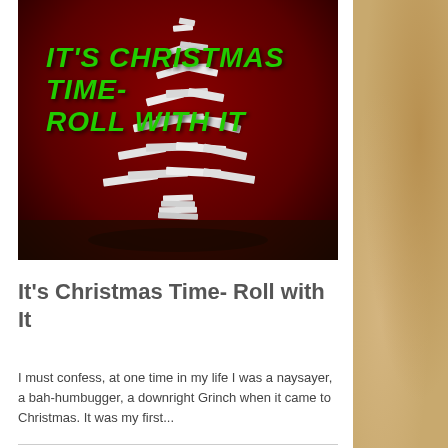[Figure (photo): A Christmas tree made of stacked books against a red background, with green italic bold text overlay reading IT'S CHRISTMAS TIME- ROLL WITH IT]
It's Christmas Time- Roll with It
I must confess, at one time in my life I was a naysayer, a bah-humbugger, a downright Grinch when it came to Christmas. It was my first...